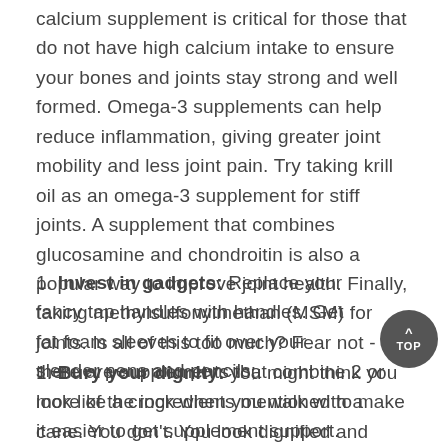calcium supplement is critical for those that do not have high calcium intake to ensure your bones and joints stay strong and well formed. Omega-3 supplements can help reduce inflammation, giving greater joint mobility and less joint pain. Try taking krill oil as an omega-3 supplement for stiff joints. A supplement that combines glucosamine and chondroitin is also a popular way to improve joint health. Finally, taking methylsulfonylmethan (MSM) for joints. Is all of this too much? Fear not - there are supplements that combine 2 or more of the ingredients mentioned to make it easier to get supplement support.
1. Invest in gadgets: Replace your fancy tap handles with handles. Get fat foam sleeves to fit over your slender pens and pencils;
1. Bury your dignity: you might think you look like a crock when you walk with a cane. You don't. You look dignified and distinguished. And it'll ease the load on your knees;